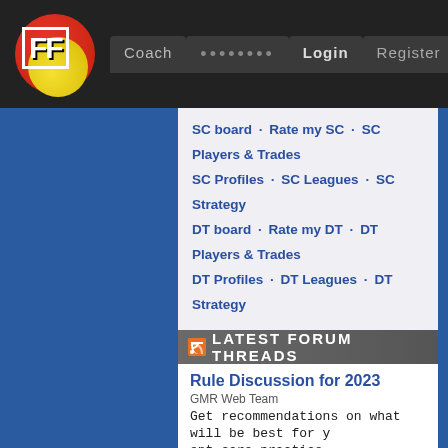FF Coach ••••••••  Login  Register
SC board · Rate my SC · SC Players & Trades
SC Profiles · SC Leagues · SC Strategy
DT board · Rate my DT · DT Players & Trades
DT Profiles · DT Leagues · DT Strategy
Private draft Leagues · Ultimate Footy
Other AFL comps · Tipping · Mr Football
AFL · State leagues
AD · BL · CA · CO · ES · FR · GE · GC · GWS
HW · ME · NM · PA · RI · SK · SY · WC · WB
Other sports · Association football (soccer) · EPL · Cricket
The Front Bar · Coaches · Introductions
Feedback · Archives
LATEST FORUM THREADS
Rule Discussion for 2023
GMR Web Team
Get recommendations on what will be best for y ent care practice.